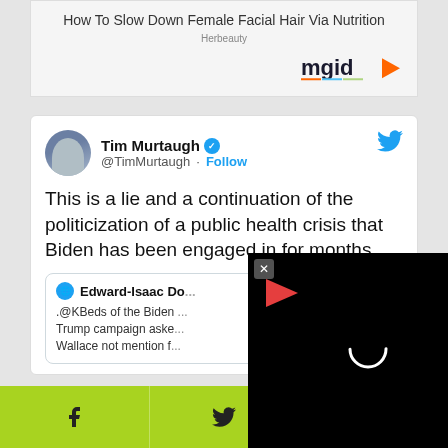[Figure (other): Advertisement card with title 'How To Slow Down Female Hair Via Nutrition' from Herbeauty, with mgid logo]
[Figure (screenshot): Tweet by Tim Murtaugh (@TimMurtaugh) with blue verified badge: 'This is a lie and a continuation of the politicization of a public health crisis that Biden has been engaged in for months.' with a quoted tweet from Edward-Isaac Do... mentioning '.@KBeds of the Bide... Trump campaign aske... Wallace not mention f...' and a black video overlay with red play arrow and close button]
[Figure (other): Green bottom share bar with Facebook, Twitter, and WhatsApp icons]